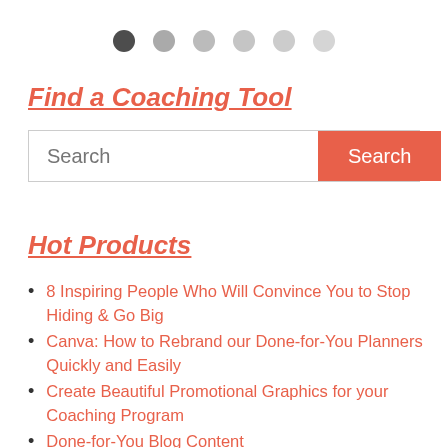[Figure (other): Pagination dots: one dark filled circle followed by five lighter grey circles]
Find a Coaching Tool
[Figure (other): Search bar with placeholder text 'Search' and a coral-red Search button]
Hot Products
8 Inspiring People Who Will Convince You to Stop Hiding & Go Big
Canva: How to Rebrand our Done-for-You Planners Quickly and Easily
Create Beautiful Promotional Graphics for your Coaching Program
Done-for-You Blog Content